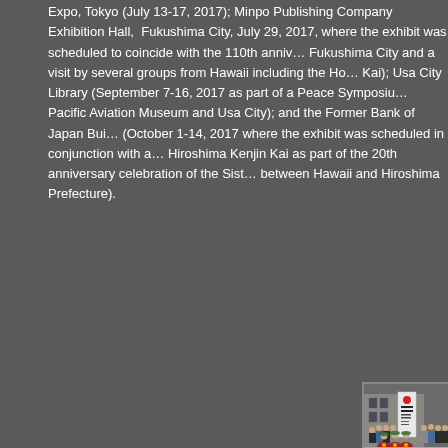Expo, Tokyo (July 13-17, 2017); Minpo Publishing Company Exhibition Hall, Fukushima City, July 29, 2017, where the exhibit was scheduled to coincide with the 110th anniversary celebration of Fukushima City and a visit by several groups from Hawaii including the Honolulu Fukushima Kenjin Kai); Usa City Library (September 7-16, 2017 as part of a Peace Symposium organized by Pacific Aviation Museum and Usa City); and the Former Bank of Japan Building, Hiroshima (October 1-14, 2017 where the exhibit was scheduled in conjunction with a visit by the Hawaii Hiroshima Kenjin Kai as part of the 20th anniversary celebration of the Sister State Relationship between Hawaii and Hiroshima Prefecture).
[Figure (photo): Group photo in front of a building with a Japanese exhibition banner. Several people are posed including hula dancers in red dresses with flower leis. The banner shows Japanese text for a Hawaii Japanese American heritage exhibit.]